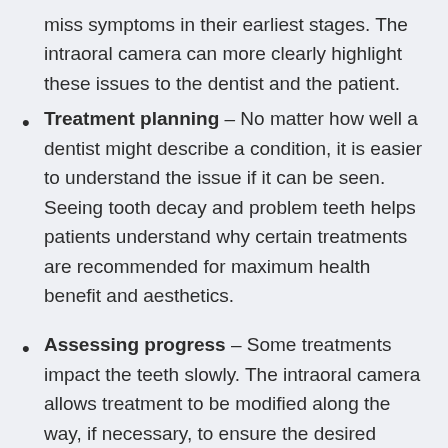miss symptoms in their earliest stages. The intraoral camera can more clearly highlight these issues to the dentist and the patient.
Treatment planning – No matter how well a dentist might describe a condition, it is easier to understand the issue if it can be seen. Seeing tooth decay and problem teeth helps patients understand why certain treatments are recommended for maximum health benefit and aesthetics.
Assessing progress – Some treatments impact the teeth slowly. The intraoral camera allows treatment to be modified along the way, if necessary, to ensure the desired results are achieved.